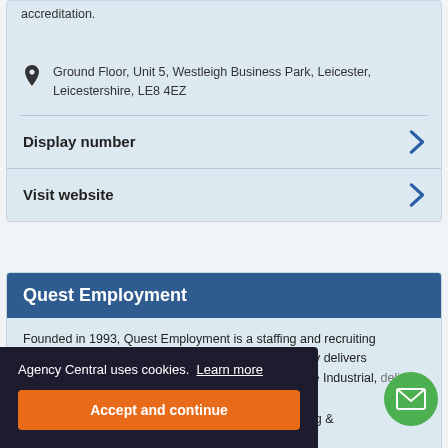accreditation.
Ground Floor, Unit 5, Westleigh Business Park, Leicester, Leicestershire, LE8 4EZ
Display number
Visit website
Quest Employment
Founded in 1993, Quest Employment is a staffing and recruiting business operating within the Midlands. The company delivers temporary and permanent staffing solutions within the Industrial, delivers candidates, Financial Services, facturing & ics, and more.
Agency Central uses cookies. Learn more
Accept and continue